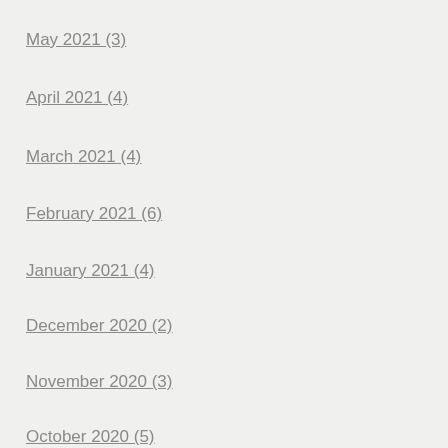May 2021 (3)
April 2021 (4)
March 2021 (4)
February 2021 (6)
January 2021 (4)
December 2020 (2)
November 2020 (3)
October 2020 (5)
September 2020 (8)